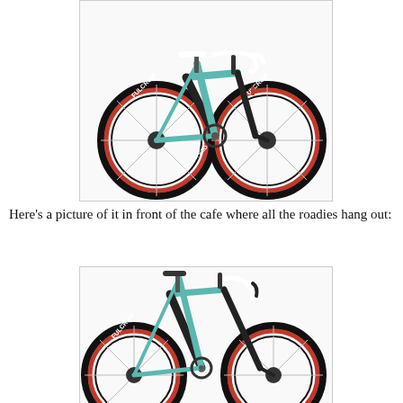[Figure (photo): A teal/celeste colored road bicycle (Bianchi brand) with black carbon frame accents, Fulcrum Racing Speed wheels with red lettering, white drop handlebars and saddle, photographed on white background, full side view.]
Here's a picture of it in front of the cafe where all the roadies hang out:
[Figure (photo): A close-up/partial view of the same teal/celeste Bianchi road bicycle showing the front half — handlebars, saddle, Fulcrum wheel with red lettering, parked in front of a cafe where roadies hang out.]